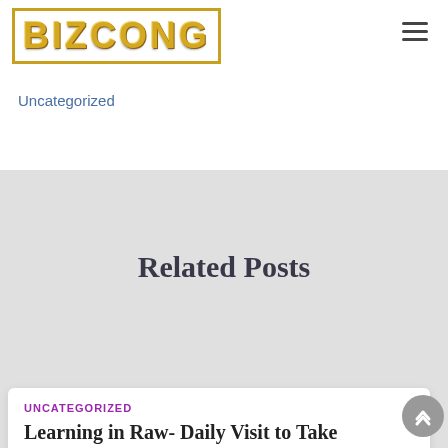[Figure (logo): Bizcong logo with gold metallic lettering inside a gold border, top-left of page]
Uncategorized
Related Posts
UNCATEGORIZED
Learning in Raw- Daily Visit to Take